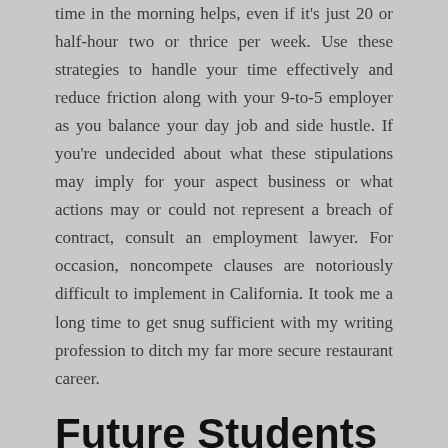time in the morning helps, even if it's just 20 or half-hour two or thrice per week. Use these strategies to handle your time effectively and reduce friction along with your 9-to-5 employer as you balance your day job and side hustle. If you're undecided about what these stipulations may imply for your aspect business or what actions may or could not represent a breach of contract, consult an employment lawyer. For occasion, noncompete clauses are notoriously difficult to implement in California. It took me a long time to get snug sufficient with my writing profession to ditch my far more secure restaurant career.
Future Students
[Figure (photo): A wooden gavel on a neutral background, associated with legal proceedings.]